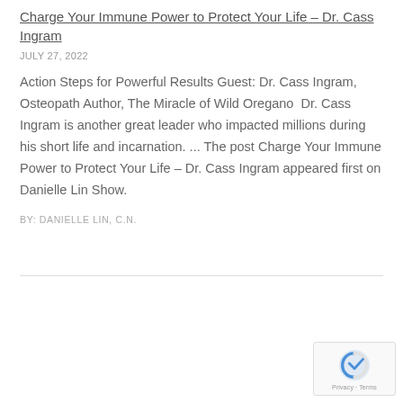Charge Your Immune Power to Protect Your Life – Dr. Cass Ingram
JULY 27, 2022
Action Steps for Powerful Results Guest: Dr. Cass Ingram, Osteopath Author, The Miracle of Wild Oregano  Dr. Cass Ingram is another great leader who impacted millions during his short life and incarnation. ... The post Charge Your Immune Power to Protect Your Life – Dr. Cass Ingram appeared first on Danielle Lin Show.
BY: DANIELLE LIN, C.N.